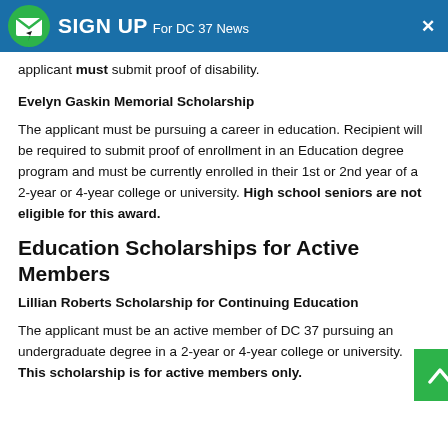SIGN UP For DC 37 News
applicant must submit proof of disability.
Evelyn Gaskin Memorial Scholarship
The applicant must be pursuing a career in education. Recipient will be required to submit proof of enrollment in an Education degree program and must be currently enrolled in their 1st or 2nd year of a 2-year or 4-year college or university. High school seniors are not eligible for this award.
Education Scholarships for Active Members
Lillian Roberts Scholarship for Continuing Education
The applicant must be an active member of DC 37 pursuing an undergraduate degree in a 2-year or 4-year college or university. This scholarship is for active members only.